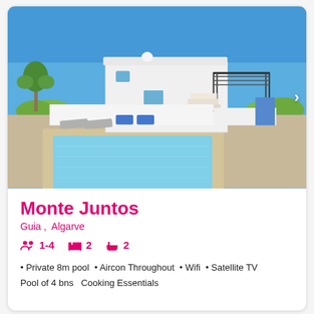[Figure (photo): Exterior photo of Monte Juntos villa showing a private swimming pool with sun loungers, white-painted house with pergola, blue sky background, in Algarve, Portugal.]
Monte Juntos
Guia ,  Algarve
1-4   2   2
Private 8m pool
Aircon Throughout
Wifi
Satellite TV
Pool of 4 bns  Cooking Essentials